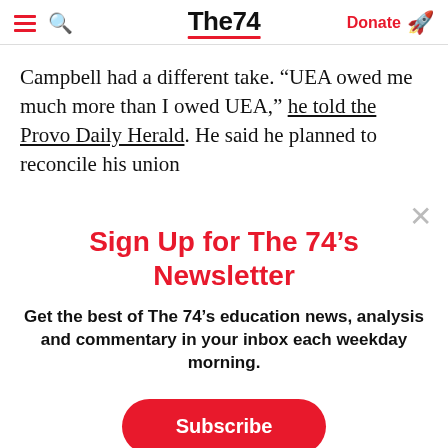The74 — Donate
Campbell had a different take. “UEA owed me much more than I owed UEA,” he told the Provo Daily Herald. He said he planned to reconcile his union
Sign Up for The 74’s Newsletter
Get the best of The 74’s education news, analysis and commentary in your inbox each weekday morning.
Subscribe